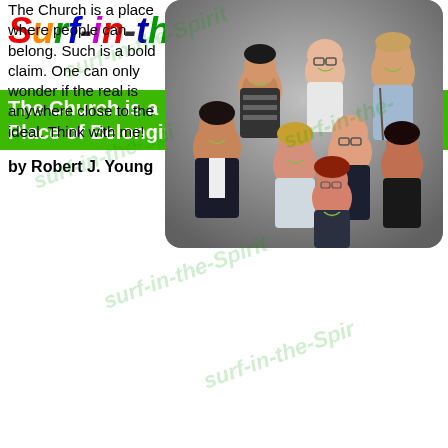Surf-in-the-Spirit™
The Church is a Place of Belonging
Sunday, September 4th, 2022
by Robert J. Young
[Figure (photo): Group photo of approximately 8 diverse people smiling, viewed from slightly above, against a grey background]
The Church is a place where people can belong. Such is a bold claim. One can only wonder if the real is anywhere close to the ideal. Think with me!